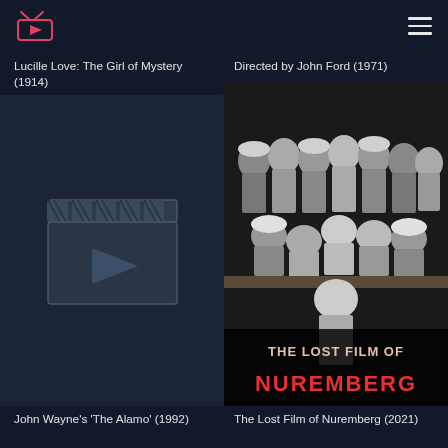Lucille Love: The Girl of Mystery (1914)
Directed by John Ford (1971)
[Figure (other): Clapperboard placeholder icon with play button]
[Figure (photo): Black and white photograph of the Nuremberg trials courtroom with text 'THE LOST FILM OF NUREMBERG' overlaid in red and white]
John Wayne's 'The Alamo' (1992)
The Lost Film of Nuremberg (2021)